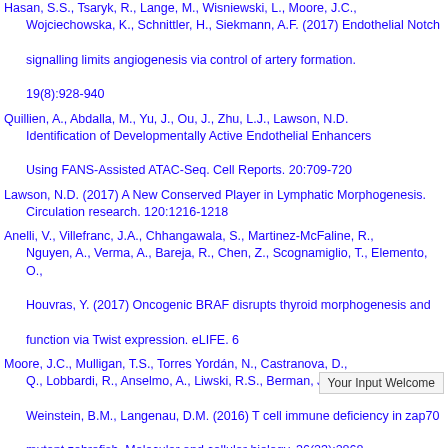Hasan, S.S., Tsaryk, R., Lange, M., Wisniewski, L., Moore, J.C., Wojciechowska, K., Schnittler, H., Siekmann, A.F. (2017) Endothelial Notch signalling limits angiogenesis via control of artery formation. Nature cell biology. 19(8):928-940
Quillien, A., Abdalla, M., Yu, J., Ou, J., Zhu, L.J., Lawson, N.D. (2017) Identification of Developmentally Active Endothelial Enhancers in Zebrafish Using FANS-Assisted ATAC-Seq. Cell Reports. 20:709-720
Lawson, N.D. (2017) A New Conserved Player in Lymphatic Morphogenesis. Circulation research. 120:1216-1218
Anelli, V., Villefranc, J.A., Chhangawala, S., Martinez-McFaline, R., Nguyen, A., Verma, A., Bareja, R., Chen, Z., Scognamiglio, T., Elemento, O., Houvras, Y. (2017) Oncogenic BRAF disrupts thyroid morphogenesis and function via Twist expression. eLIFE. 6
Moore, J.C., Mulligan, T.S., Torres Yordán, N., Castranova, D., Grosse, A.S., Q., Lobbardi, R., Anselmo, A., Liwski, R.S., Berman, J.N., Sacco, A.W., Weinstein, B.M., Langenau, D.M. (2016) T cell immune deficiency in zap70 mutant zebrafish. Molecular and cellular biology. 36(23):2868
Matsuoka, R.L., Marass, M., Avdesh, A., Helker, C.S., Maischein, H.M., Grosse, A.S., Kaur, H., Lawson, N.D., Herzog, W., Stainier, D.Y. (2016) Radial glia regulate vascular patterning around the developing spinal cord.
Moore, J.C., Tang, Q., Yordán, N.T., Moore, F.E., Garcia, E.G., Regev, A., Ramakrishnan, A., Marvin, D.L., Anselmo, A., ... (2016) Single-cell imaging of normal and malignant gr...